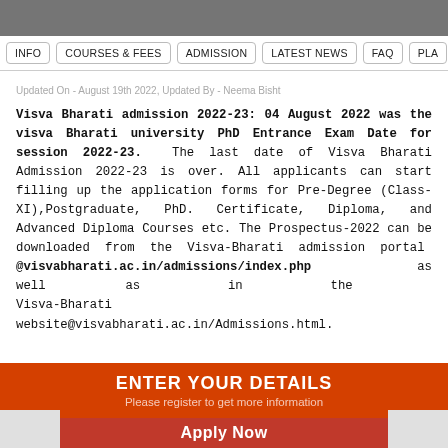INFO | COURSES & FEES | ADMISSION | LATEST NEWS | FAQ | PLA
Updated On - August 19th 2022, Updated By - Neema Bisht
Visva Bharati admission 2022-23: 04 August 2022 was the visva Bharati university PhD Entrance Exam Date for session 2022-23. The last date of Visva Bharati Admission 2022-23 is over. All applicants can start filling up the application forms for Pre-Degree (Class-XI),Postgraduate, PhD. Certificate, Diploma, and Advanced Diploma Courses etc. The Prospectus-2022 can be downloaded from the Visva-Bharati admission portal @visvabharati.ac.in/admissions/index.php as well as in the Visva-Bharati website@visvabharati.ac.in/Admissions.html.
[Figure (infographic): Orange CTA banner: ENTER YOUR DETAILS / Please register to get more information / Apply Now button]